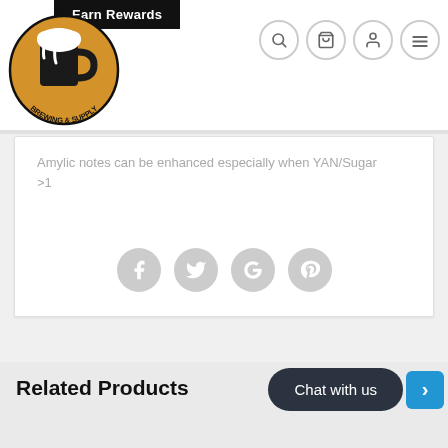Earn Rewards
[Figure (logo): Alt Brewing & Supply logo — circular gold/amber badge with a beer mug overflowing with foam, text reading ALT BREWING & SUPPLY around the edge]
Amylic notes can be enhanced especially when YAN/Sugar >1
[Figure (infographic): Social share icons: Facebook, Twitter, Google+, Pinterest — all grey circles]
Related Products
Chat with us